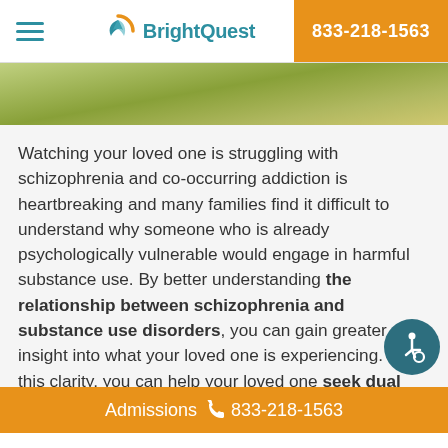BrightQuest | 833-218-1563
[Figure (photo): Partial view of a person outdoors, green background, hero image banner]
Watching your loved one is struggling with schizophrenia and co-occurring addiction is heartbreaking and many families find it difficult to understand why someone who is already psychologically vulnerable would engage in harmful substance use. By better understanding the relationship between schizophrenia and substance use disorders, you can gain greater insight into what your loved one is experiencing. With this clarity, you can help your loved one seek dual diagnosis treatment to address full scope of their needs. Throughout the hea
Admissions 833-218-1563